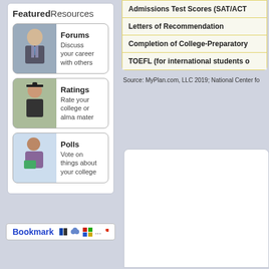FeaturedResources
[Figure (screenshot): Forums card with photo of man in suit]
Forums – Discuss your career with others
[Figure (screenshot): Ratings card with photo of graduate]
Ratings – Rate your college or alma mater
[Figure (screenshot): Polls card with photo of student]
Polls – Vote on things about your college
Bookmark
Admissions Test Scores (SAT/ACT
Letters of Recommendation
Completion of College-Preparatory
TOEFL (for international students o
Source: MyPlan.com, LLC 2019; National Center fo